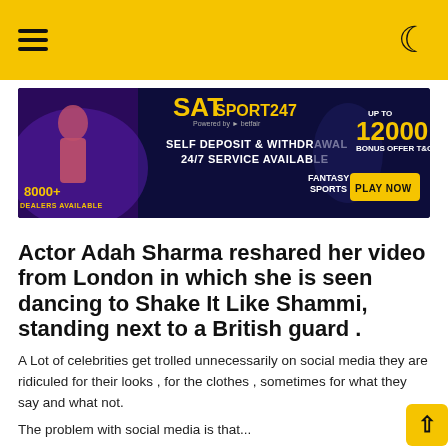[Figure (photo): SATsport247 advertisement banner: dark blue background with woman in red, cricket players, text: SAT SPORT247, Powered by betfair, SELF DEPOSIT & WITHDRAWAL, 24/7 SERVICE AVAILABLE, 8000+ DEALERS AVAILABLE, FANTASY SPORTS, UP TO 12000 BONUS OFFER, PLAY NOW]
Actor Adah Sharma reshared her video from London in which she is seen dancing to Shake It Like Shammi, standing next to a British guard .
A Lot of celebrities get trolled unnecessarily on social media they are ridiculed for their looks , for the clothes , sometimes for what they say and what not.
The problem with social media is that...